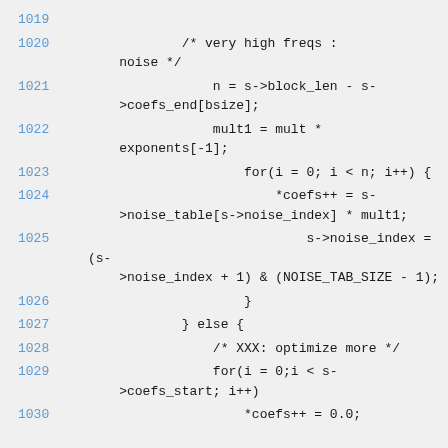1019
1020    /* very high freqs : noise */
1021    n = s->block_len - s->coefs_end[bsize];
1022    mult1 = mult * exponents[-1];
1023    for(i = 0; i < n; i++) {
1024    *coefs++ = s->noise_table[s->noise_index] * mult1;
1025    s->noise_index = (s->noise_index + 1) & (NOISE_TAB_SIZE - 1);
1026    }
1027    } else {
1028    /* XXX: optimize more */
1029    for(i = 0;i < s->coefs_start; i++)
1030    *coefs++ = 0.0;